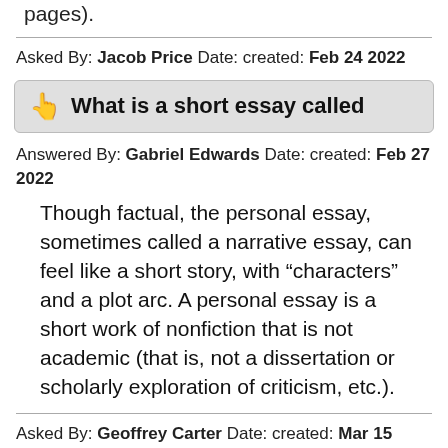pages).
Asked By: Jacob Price Date: created: Feb 24 2022
What is a short essay called
Answered By: Gabriel Edwards Date: created: Feb 27 2022
Though factual, the personal essay, sometimes called a narrative essay, can feel like a short story, with “characters” and a plot arc. A personal essay is a short work of nonfiction that is not academic (that is, not a dissertation or scholarly exploration of criticism, etc.).
Asked By: Geoffrey Carter Date: created: Mar 15 2022
How many pages is 2000 words